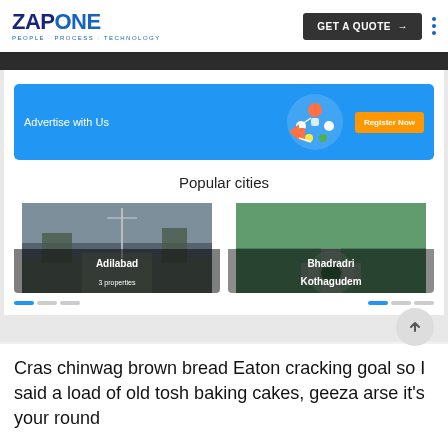ZAPONE — PEOPLE PROCESS TECHNOLOGY | GET A QUOTE →
[Figure (screenshot): Screenshot of a website showing an 'Advertise with Us' blue banner with a 'Register Now' orange button, followed by a 'Popular cities' section with two city cards: Adilabad (3 properties) and Bhadradri Kothagudem]
Cras chinwag brown bread Eaton cracking goal so I said a load of old tosh baking cakes, geeza arse it's your round